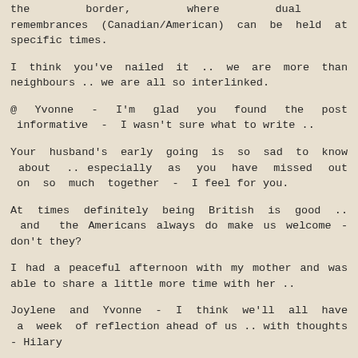the border, where dual remembrances (Canadian/American) can be held at specific times.
I think you've nailed it .. we are more than neighbours .. we are all so interlinked.
@ Yvonne - I'm glad you found the post informative - I wasn't sure what to write ..
Your husband's early going is so sad to know about .. especially as you have missed out on so much together - I feel for you.
At times definitely being British is good .. and the Americans always do make us welcome - don't they?
I had a peaceful afternoon with my mother and was able to share a little more time with her ..
Joylene and Yvonne - I think we'll all have a week of reflection ahead of us .. with thoughts - Hilary
Reply